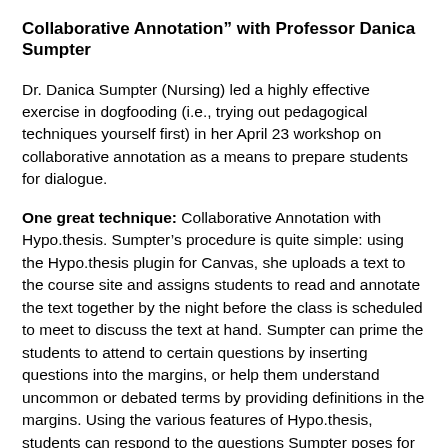Collaborative Annotation” with Professor Danica Sumpter
Dr. Danica Sumpter (Nursing) led a highly effective exercise in dogfooding (i.e., trying out pedagogical techniques yourself first) in her April 23 workshop on collaborative annotation as a means to prepare students for dialogue.
One great technique: Collaborative Annotation with Hypo.thesis. Sumpter’s procedure is quite simple: using the Hypo.thesis plugin for Canvas, she uploads a text to the course site and assigns students to read and annotate the text together by the night before the class is scheduled to meet to discuss the text at hand. Sumpter can prime the students to attend to certain questions by inserting questions into the margins, or help them understand uncommon or debated terms by providing definitions in the margins. Using the various features of Hypo.thesis, students can respond to the questions Sumpter poses for them as well as highlight and comment on sections of text that strike them as particularly